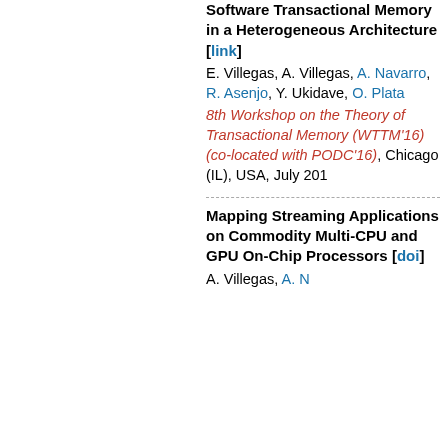Software Transactional Memory in a Heterogeneous Architecture [link]
E. Villegas, A. Villegas, A. Navarro, R. Asenjo, Y. Ukidave, O. Plata
8th Workshop on the Theory of Transactional Memory (WTTM'16) (co-located with PODC'16), Chicago (IL), USA, July 201
Mapping Streaming Applications on Commodity Multi-CPU and GPU On-Chip Processors [doi]
A. Villegas, A. Navarro, ...